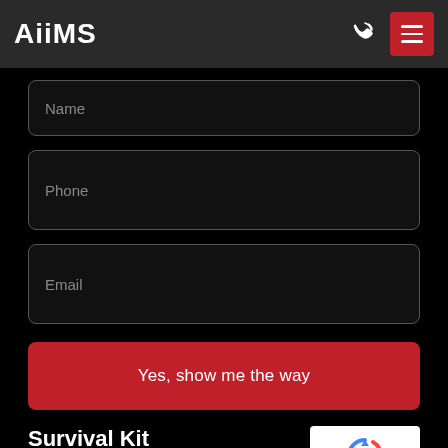AiiMS
Name
Phone
Email
Yes, show me the way
Survival Kit
[Figure (logo): reCAPTCHA badge with circular arrow icon and Privacy - Terms text]